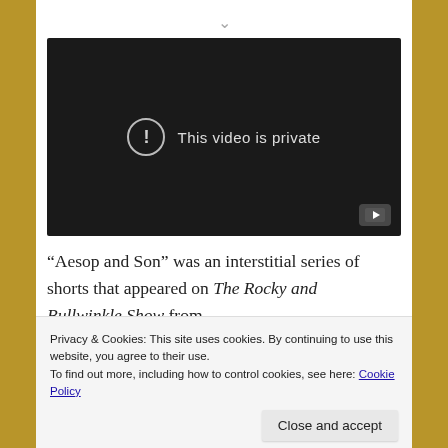[Figure (screenshot): YouTube video embed showing 'This video is private' message with exclamation mark in circle and YouTube logo in bottom right corner, on dark background]
“Aesop and Son” was an interstitial series of shorts that appeared on The Rocky and Bullwinkle Show from
Privacy & Cookies: This site uses cookies. By continuing to use this website, you agree to their use.
To find out more, including how to control cookies, see here: Cookie Policy
Close and accept
the fables or a loose variation thereof. After hearing